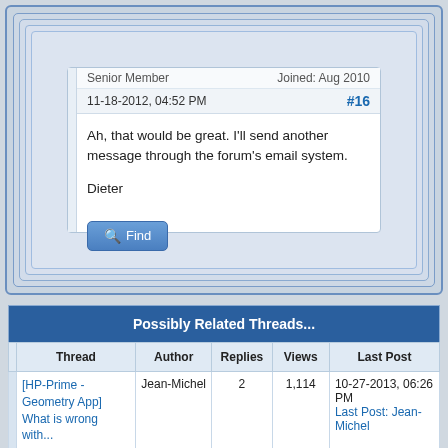Senior Member
Joined: Aug 2010
11-18-2012, 04:52 PM
#16
Ah, that would be great. I'll send another message through the forum's email system.

Dieter
| Thread | Author | Replies | Views | Last Post |
| --- | --- | --- | --- | --- |
| [HP-Prime - Geometry App] What is wrong with... | Jean-Michel | 2 | 1,114 | 10-27-2013, 06:26 PM
Last Post: Jean-Michel |